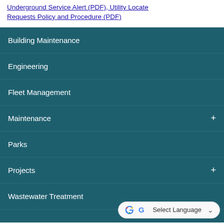Underground Service Alert (PDF), Utility Locate Requests Policy and Procedure (PDF)
Building Maintenance
Engineering
Fleet Management
Maintenance +
Parks
Projects +
Wastewater Treatment